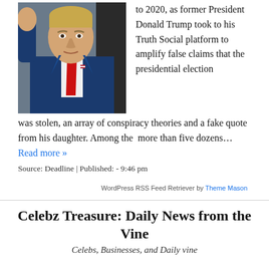[Figure (photo): Former President Donald Trump in a blue suit with red tie, raising his hand]
to 2020, as former President Donald Trump took to his Truth Social platform to amplify false claims that the presidential election was stolen, an array of conspiracy theories and a fake quote from his daughter. Among the more than five dozens… Read more »
Source: Deadline | Published: - 9:46 pm
WordPress RSS Feed Retriever by Theme Mason
Celebz Treasure: Daily News from the Vine
Celebs, Businesses, and Daily vine